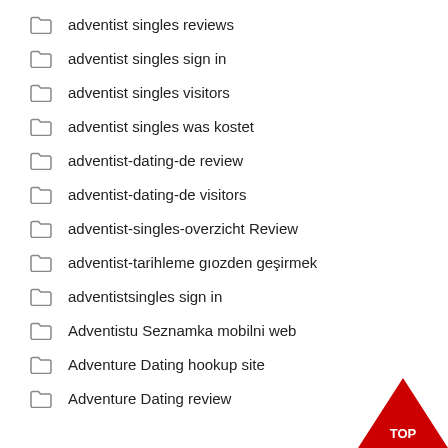adventist singles reviews
adventist singles sign in
adventist singles visitors
adventist singles was kostet
adventist-dating-de review
adventist-dating-de visitors
adventist-singles-overzicht Review
adventist-tarihleme gözden geçirmek
adventistsingles sign in
Adventistu Seznamka mobilni web
Adventure Dating hookup site
Adventure Dating review